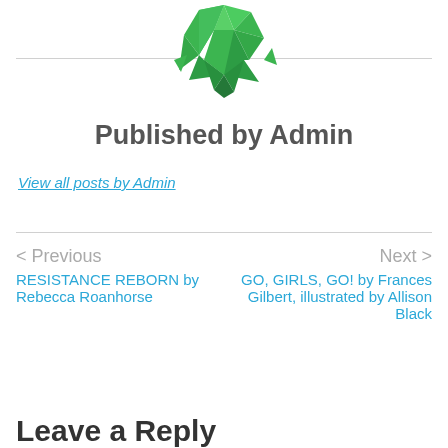[Figure (logo): Green geometric diamond/crystal logo icon made of angular facets]
Published by Admin
View all posts by Admin
< Previous
RESISTANCE REBORN by Rebecca Roanhorse
Next >
GO, GIRLS, GO! by Frances Gilbert, illustrated by Allison Black
Leave a Reply